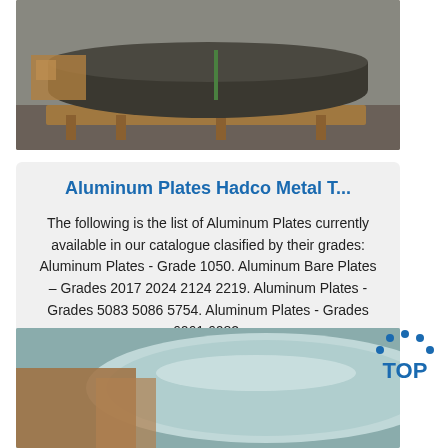[Figure (photo): Photo of large aluminum plates/rolls stacked on wooden pallets in a warehouse]
Aluminum Plates Hadco Metal T...
The following is the list of Aluminum Plates currently available in our catalogue clasified by their grades: Aluminum Plates - Grade 1050. Aluminum Bare Plates – Grades 2017 2024 2124 2219. Aluminum Plates - Grades 5083 5086 5754. Aluminum Plates - Grades 6061 6082.
Get Price
[Figure (photo): Photo of rolled aluminum sheet material in a warehouse setting]
[Figure (logo): TOP logo with blue dotted arc above text]